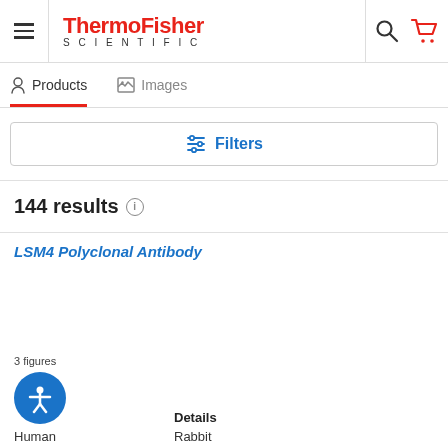ThermoFisher SCIENTIFIC
Products | Images
Filters
144 results
LSM4 Polyclonal Antibody
3 figures
Human
Details
Rabbit